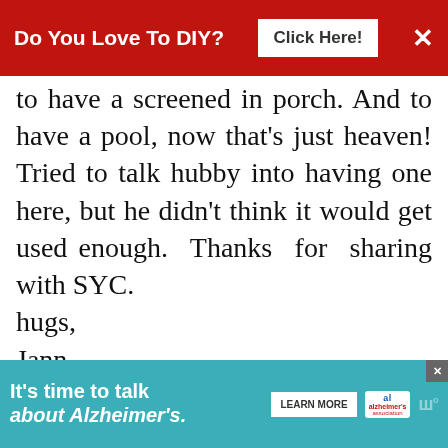Do You Love To DIY? Click Here!
to have a screened in porch. And to have a pool, now that's just heaven! Tried to talk hubby into having one here, but he didn't think it would get used enough. Thanks for sharing with SYC.
hugs,
Jann
REPLY DELETE
▾ REPLIES
WHAT'S NEXT → Cottage Style Summer...
Kim
It's time to talk about Alzheimer's. LEARN MORE